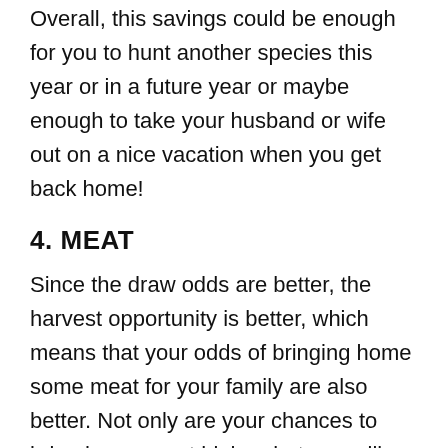Overall, this savings could be enough for you to hunt another species this year or in a future year or maybe enough to take your husband or wife out on a nice vacation when you get back home!
4. MEAT
Since the draw odds are better, the harvest opportunity is better, which means that your odds of bringing home some meat for your family are also better. Not only are your chances to bring home meat higher, but you will also have better tasting meat. In my experience and many other hunters' experience, female animals taste better. Maybe it's just because